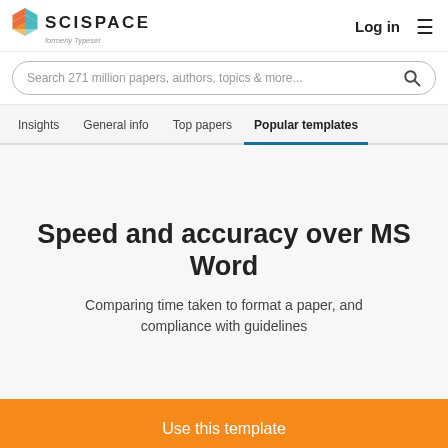SCISPACE formerly Typeset | Log in
Search 271 million papers, authors, topics & more...
Insights   General info   Top papers   Popular templates
Speed and accuracy over MS Word
Comparing time taken to format a paper, and compliance with guidelines
Use this template